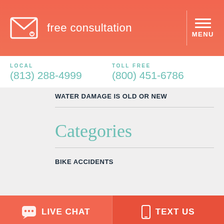free consultation | MENU
LOCAL (813) 288-4999  TOLL FREE (800) 451-6786
WATER DAMAGE IS OLD OR NEW
Categories
BIKE ACCIDENTS
LIVE CHAT  TEXT US